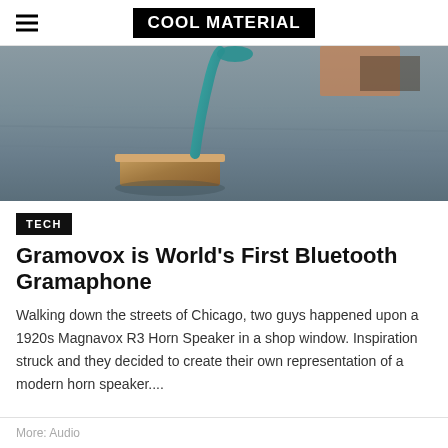COOL MATERIAL
[Figure (photo): Close-up photograph of a wooden base with a teal/blue curved horn speaker on a gray wooden surface]
TECH
Gramovox is World's First Bluetooth Gramaphone
Walking down the streets of Chicago, two guys happened upon a 1920s Magnavox R3 Horn Speaker in a shop window. Inspiration struck and they decided to create their own representation of a modern horn speaker....
More: Audio